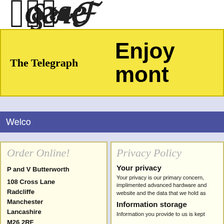[Figure (logo): Partial masthead of a newspaper in blackletter/gothic script, cropped at top]
[Figure (infographic): Yellow advertisement banner featuring The Telegraph masthead and text 'Enjoy... mont...' (partially visible)]
Welco
Order Online!
P and V Butterworth

108 Cross Lane
Radcliffe
Manchester
Lancashire
M26 2RF
Privacy Policy
Your privacy
Your privacy is our primary concern, implimented advanced hardware and website and the data that we hold as
Information storage
Information you provide to us is kept